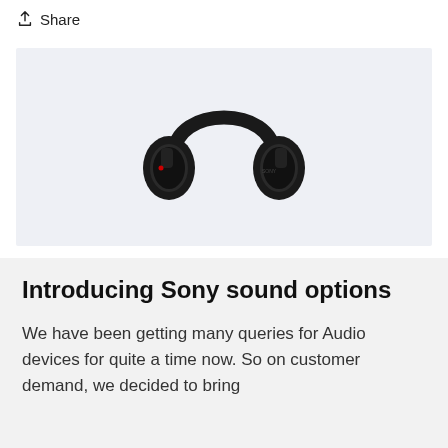Share
[Figure (photo): Black Sony over-ear wireless headphones on a light gray background]
Introducing Sony sound options
We have been getting many queries for Audio devices for quite a time now. So on customer demand, we decided to bring